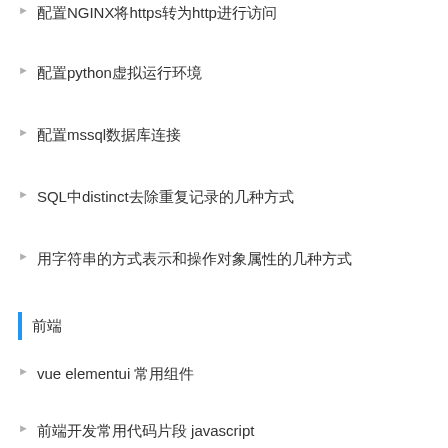配置NGINX将https转为http进行访问
配置python虚拟运行环境
配置mssql数据库连接
SQL中distinct去除重复记录的几种方式
用字符串的方式表示和操作对象属性的几种方式
前端
vue elementui 常用组件
前端开发常用代码片段 javascript